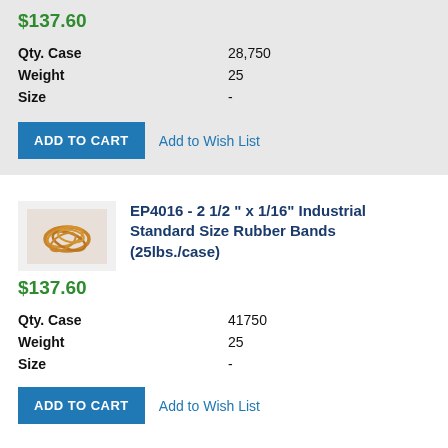$137.60
| Qty. Case | 28,750 |
| Weight | 25 |
| Size | - |
ADD TO CART   Add to Wish List
[Figure (photo): Small pile of rubber bands]
EP4016 - 2 1/2" x 1/16" Industrial Standard Size Rubber Bands (25lbs./case)
$137.60
| Qty. Case | 41750 |
| Weight | 25 |
| Size | - |
ADD TO CART   Add to Wish List